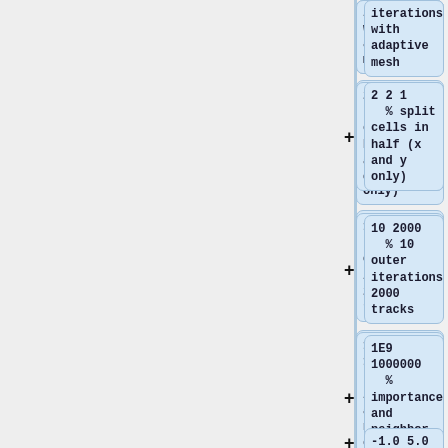iterations with adaptive mesh
2 2 1
    % split cells in half (x and y only)
10 2000
    % 10 outer iterations 2000 tracks
1E9 1000000
    % importance and neighbor criteria
-1.0 5.0 5.0 5.0
    % density criteria and minimum dimensions